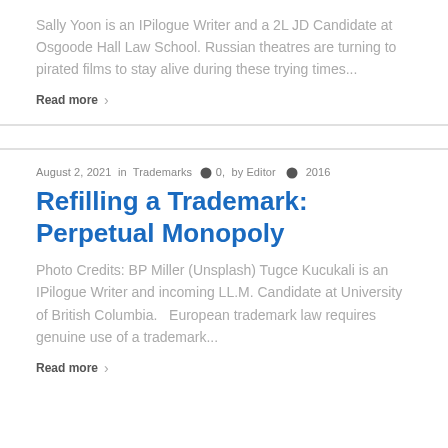Sally Yoon is an IPilogue Writer and a 2L JD Candidate at Osgoode Hall Law School. Russian theatres are turning to pirated films to stay alive during these trying times...
Read more ›
August 2, 2021  in  Trademarks  ● 0,  by Editor  ● 2016
Refilling a Trademark: Perpetual Monopoly
Photo Credits: BP Miller (Unsplash) Tugce Kucukali is an IPilogue Writer and incoming LL.M. Candidate at University of British Columbia.   European trademark law requires genuine use of a trademark...
Read more ›